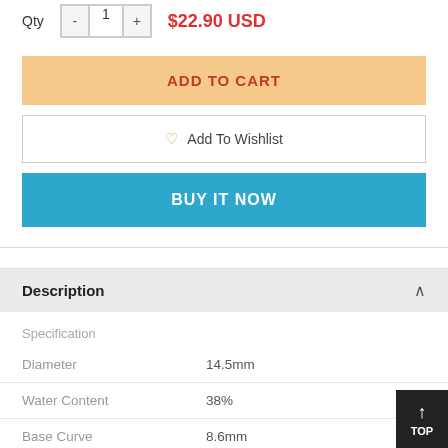Qty - 1 + $22.90 USD
ADD TO CART
Add To Wishlist
BUY IT NOW
Description
|  |  |
| --- | --- |
| Specification |  |
| Diameter | 14.5mm |
| Water Content | 38% |
| Base Curve | 8.6mm |
| Replacement Period | Within 12 months |